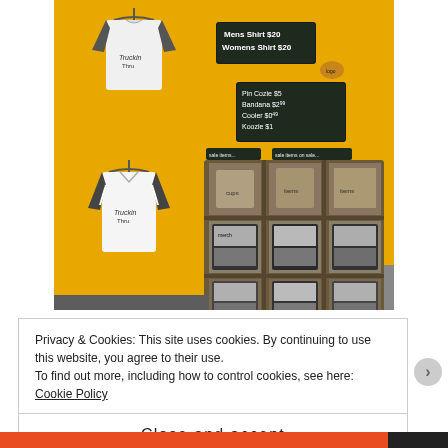[Figure (photo): A retail merchandise display area with a bright yellow wall. Two black-and-white baseball-style raglan t-shirts hang on the left wall. A wooden cubby shelf unit in the center holds folded merchandise (black-and-white patterned items) on multiple shelves, with black storage bins at the bottom. Two chalkboard signs on the yellow wall display pricing: one reads 'Mens Shirt $20, Womens Shirt $20' and another lists other items with prices.]
Privacy & Cookies: This site uses cookies. By continuing to use this website, you agree to their use.
To find out more, including how to control cookies, see here: Cookie Policy
Close and accept